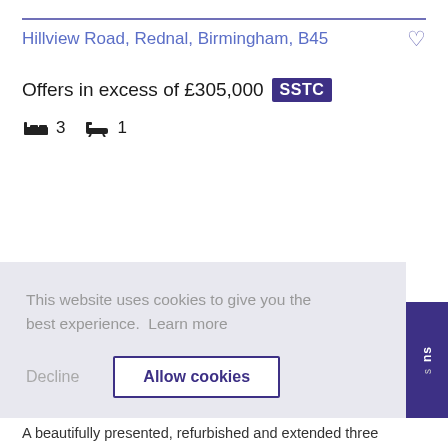Hillview Road, Rednal, Birmingham, B45
Offers in excess of £305,000 SSTC
3 bedrooms, 1 bathroom
This website uses cookies to give you the best experience.  Learn more
Decline   Allow cookies
A beautifully presented, refurbished and extended three